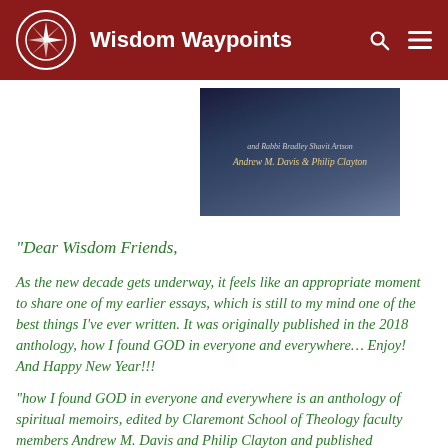Wisdom Waypoints
[Figure (photo): Book cover with dark sky/clouds background showing text 'and Rabbi Bradley Shavit Artson' and 'Andrew M. Davis & Philip Clayton']
“Dear Wisdom Friends,
As the new decade gets underway, it feels like an appropriate moment to share one of my earlier essays, which is still to my mind one of the best things I’ve ever written. It was originally published in the 2018 anthology, how I found GOD in everyone and everywhere… Enjoy! And Happy New Year!!!
“how I found GOD in everyone and everywhere is an anthology of spiritual memoirs, edited by Claremont School of Theology faculty members Andrew M. Davis and Philip Clayton and published